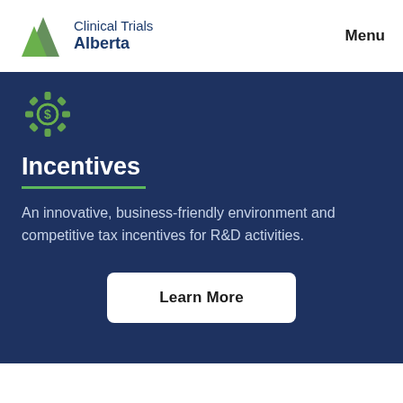[Figure (logo): Clinical Trials Alberta logo with green triangle/arrow icon and dark blue text]
Menu
[Figure (illustration): Green gear/cog icon with a dollar sign inside, on dark blue background]
Incentives
An innovative, business-friendly environment and competitive tax incentives for R&D activities.
Learn More